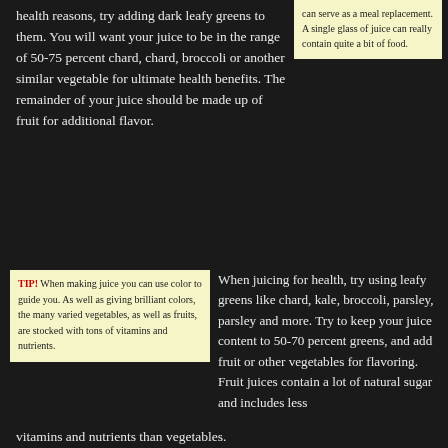health reasons, try adding dark leafy greens to them. You will want your juice to be in the range of 50-75 percent chard, chard, broccoli or another similar vegetable for ultimate health benefits. The remainder of your juice should be made up of fruit for additional flavor.
can serve as a meal replacement. A single glass of juice can really contain quite a bit of food.
TIP! When making juice you can use color to guide you. As well as giving brilliant colors, the many varied vegetables, as well as fruits, are stocked with tons of vitamins and nutrients.
When juicing for health, try using leafy greens like chard, kale, broccoli, parsley, parsley and more. Try to keep your juice content to 50-70 percent greens, and add fruit or other vegetables for flavoring. Fruit juices contain a lot of natural sugar and includes less vitamins and nutrients than vegetables.